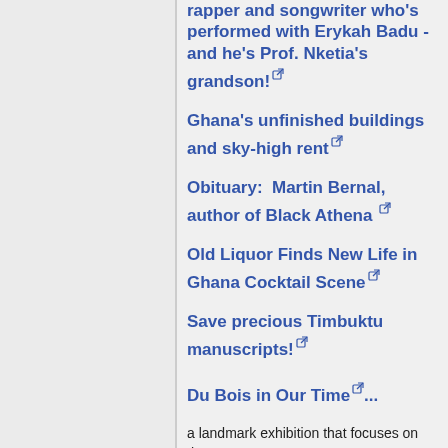rapper and songwriter who's performed with Erykah Badu - and he's Prof. Nketia's grandson!
Ghana's unfinished buildings and sky-high rent
Obituary:  Martin Bernal, author of Black Athena
Old Liquor Finds New Life in Ghana Cocktail Scene
Save precious Timbuktu manuscripts!
Du Bois in Our Time...
a landmark exhibition that focuses on the